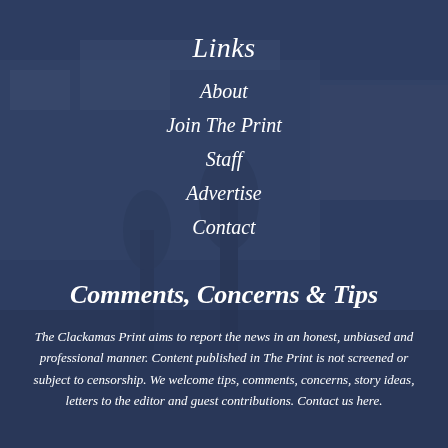Links
About
Join The Print
Staff
Advertise
Contact
Comments, Concerns & Tips
The Clackamas Print aims to report the news in an honest, unbiased and professional manner. Content published in The Print is not screened or subject to censorship. We welcome tips, comments, concerns, story ideas, letters to the editor and guest contributions. Contact us here.